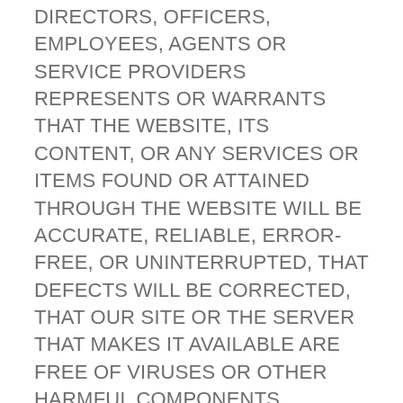DIRECTORS, OFFICERS, EMPLOYEES, AGENTS OR SERVICE PROVIDERS REPRESENTS OR WARRANTS THAT THE WEBSITE, ITS CONTENT, OR ANY SERVICES OR ITEMS FOUND OR ATTAINED THROUGH THE WEBSITE WILL BE ACCURATE, RELIABLE, ERROR-FREE, OR UNINTERRUPTED, THAT DEFECTS WILL BE CORRECTED, THAT OUR SITE OR THE SERVER THAT MAKES IT AVAILABLE ARE FREE OF VIRUSES OR OTHER HARMFUL COMPONENTS.
We cannot and do not guarantee or warrant that files or data available for downloading from the internet or the Website will be free of viruses or other destructive code. You are solely and entirely responsible for your use of the Website and your computer, internet and data security. TO THE FULLEST EXTENT PROVIDED BY LAW, WE WILL